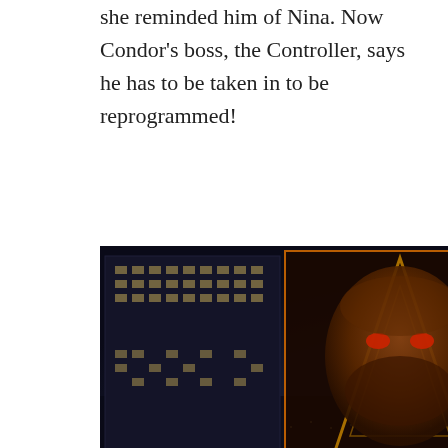she reminded him of Nina. Now Condor's boss, the Controller, says he has to be taken in to be reprogrammed!
[Figure (photo): Nighttime cityscape with large face projections/billboards on skyscrapers. A man's face with glowing eyes is projected on a tall building on the left, with an illuminated triangle/eye symbol below it. A woman's face in blue tones appears on the right edge. City lights fill the background.]
Once at the reprogramming center, Condor makes a break for it and in the course of his escape locates Nina in a nearby cell! But he saw her killed! And he buried her! They were just manipulating you, Condor, Nina advises.